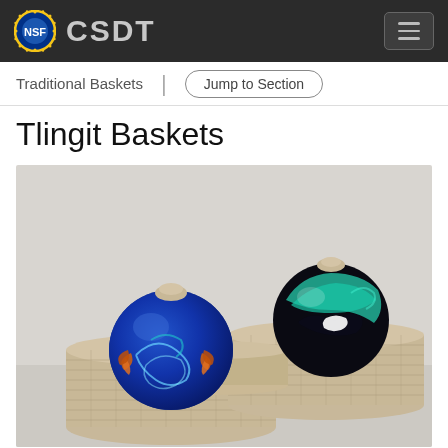NSF CSDT
Traditional Baskets
Tlingit Baskets
[Figure (photo): Two decorative glass orb containers with woven basket lids, displayed atop stacked woven baskets made of natural fiber. The left orb is deep blue with orange and teal designs. The right orb is black with teal and white orca whale designs. The baskets are made of coiled natural straw/reed material.]